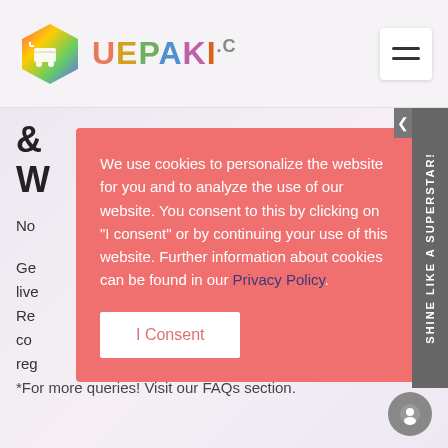UEPAKI
& W
No... ard to get on
Ge... to be held live... & artists. Re... ed co... arly reg...
[Figure (screenshot): Cookie consent modal overlay with salmon/coral background. Text reads: 'We use cookies to personalize the website for you and to analyze the use of our website. You consent to this by clicking on "I consent" or by continuing your use of this website. Further information about cookies can be found in our Privacy Policy.' Button labeled 'I Consent'.]
*For more queries! Visit our FAQs section.